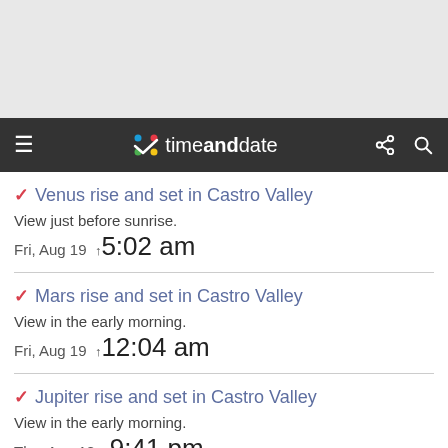[Figure (screenshot): Gray top banner area]
timeanddate — navigation bar with hamburger menu, logo, share and search icons
Venus rise and set in Castro Valley
View just before sunrise.
Fri, Aug 19 ↑ 5:02 am
Mars rise and set in Castro Valley
View in the early morning.
Fri, Aug 19 ↑ 12:04 am
Jupiter rise and set in Castro Valley
View in the early morning.
Thu, Aug 18 ↑ 9:41 pm